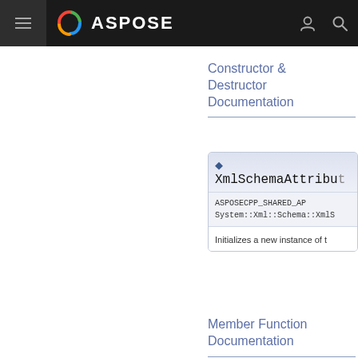ASPOSE
Constructor & Destructor Documentation
◆ XmlSchemaAttribut...
ASPOSECPP_SHARED_AP...
System::Xml::Schema::XmlS...
Initializes a new instance of t...
Member Function Documentation